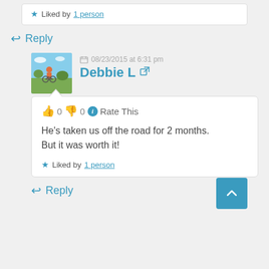★ Liked by 1 person
↩ Reply
08/23/2015 at 6:31 pm
Debbie L
[Figure (photo): Avatar photo of Debbie L showing outdoor scene]
👍 0 👎 0 ℹ Rate This
He's taken us off the road for 2 months. But it was worth it!
★ Liked by 1 person
↩ Reply